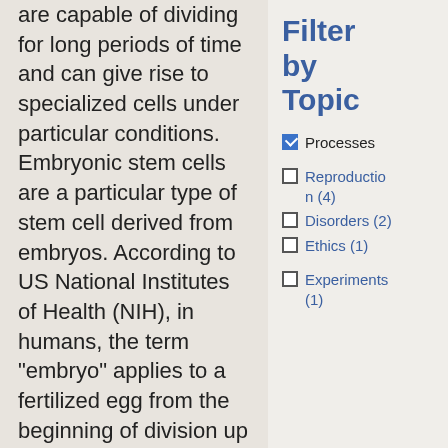are capable of dividing for long periods of time and can give rise to specialized cells under particular conditions. Embryonic stem cells are a particular type of stem cell derived from embryos. According to US National Institutes of Health (NIH), in humans, the term "embryo" applies to a fertilized egg from the beginning of division up to the end of the eighth week of gestation, when the embryo becomes a fetus. Between fertilization and the eighth week of gestation, the embryo undergoes multiple cell
Filter by Topic
☑ Processes
☐ Reproduction (4)
☐ Disorders (2)
☐ Ethics (1)
☐ Experiments (1)